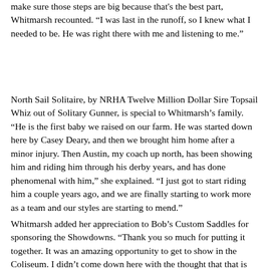make sure those steps are big because that's the best part, Whitmarsh recounted. “I was last in the runoff, so I knew what I needed to be. He was right there with me and listening to me.”
North Sail Solitaire, by NRHA Twelve Million Dollar Sire Topsail Whiz out of Solitary Gunner, is special to Whitmarsh’s family. “He is the first baby we raised on our farm. He was started down here by Casey Deary, and then we brought him home after a minor injury. Then Austin, my coach up north, has been showing him and riding him through his derby years, and has done phenomenal with him,” she explained. “I just got to start riding him a couple years ago, and we are finally starting to work more as a team and our styles are starting to mend.”
Whitmarsh added her appreciation to Bob’s Custom Saddles for sponsoring the Showdowns. “Thank you so much for putting it together. It was an amazing opportunity to get to show in the Coliseum. I didn’t come down here with the thought that that is where I would be showing at the end of the